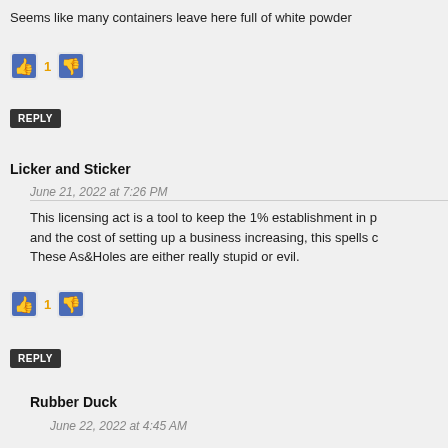Seems like many containers leave here full of white powder
[Figure (other): Thumbs up icon with count 1 and thumbs down icon]
REPLY
Licker and Sticker
June 21, 2022 at 7:26 PM
This licensing act is a tool to keep the 1% establishment in p and the cost of setting up a business increasing, this spells c These As&Holes are either really stupid or evil.
[Figure (other): Thumbs up icon with count 1 and thumbs down icon]
REPLY
Rubber Duck
June 22, 2022 at 4:45 AM